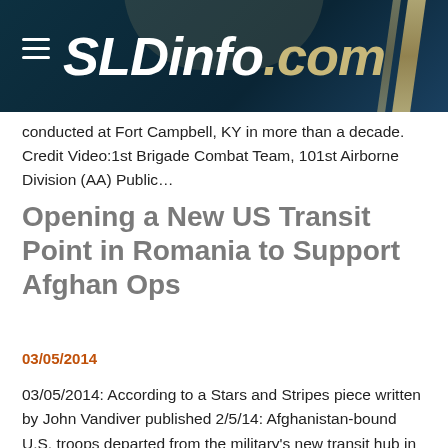SLDinfo.com
conducted at Fort Campbell, KY in more than a decade. Credit Video:1st Brigade Combat Team, 101st Airborne Division (AA) Public…
Opening a New US Transit Point in Romania to Support Afghan Ops
03/05/2014
03/05/2014: According to a Stars and Stripes piece written by John Vandiver published 2/5/14: Afghanistan-bound U.S. troops departed from the military's new transit hub in Romania this week, marking a first for the new facility, which will play a key role as the United States draws down in Afghanistan in